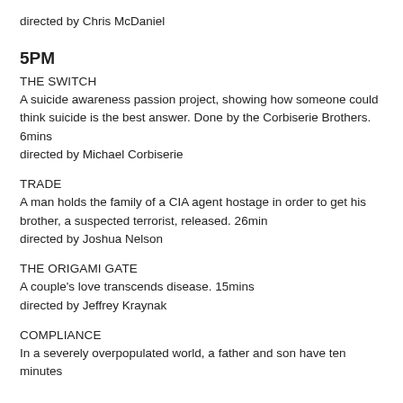directed by Chris McDaniel
5PM
THE SWITCH
A suicide awareness passion project, showing how someone could think suicide is the best answer. Done by the Corbiserie Brothers. 6mins
directed by Michael Corbiserie
TRADE
A man holds the family of a CIA agent hostage in order to get his brother, a suspected terrorist, released. 26min
directed by Joshua Nelson
THE ORIGAMI GATE
A couple's love transcends disease. 15mins
directed by Jeffrey Kraynak
COMPLIANCE
In a severely overpopulated world, a father and son have ten minutes